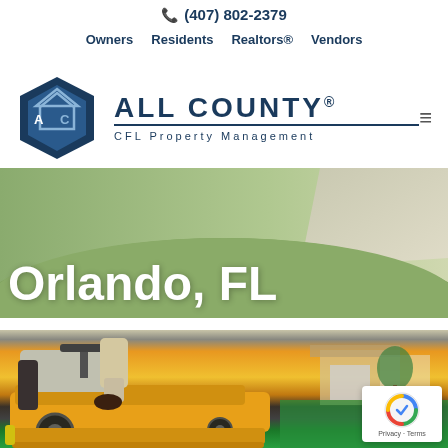Maintenance (background title)
(407) 802-2379   Owners   Residents   Realtors®   Vendors
[Figure (logo): All County CFL Property Management logo with blue hexagon AC icon and company name]
[Figure (photo): Hero image of lawn/grass landscape with text 'Orlando, FL' overlaid in white]
[Figure (photo): Close-up photo of a person riding a yellow zero-turn lawn mower on green grass with a house and garage in the background]
[Figure (other): reCAPTCHA badge with spinning logo, Privacy and Terms links]